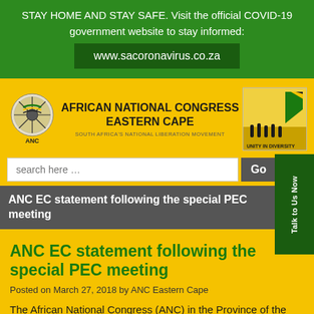STAY HOME AND STAY SAFE. Visit the official COVID-19 government website to stay informed: www.sacoronavirus.co.za
[Figure (logo): ANC logo circular emblem with ANC text below]
AFRICAN NATIONAL CONGRESS EASTERN CAPE
SOUTH AFRICA'S NATIONAL LIBERATION MOVEMENT
[Figure (illustration): Unity in Diversity banner image with ANC flags]
ANC EC statement following the special PEC meeting
ANC EC statement following the special PEC meeting
Posted on March 27, 2018 by ANC Eastern Cape
The African National Congress (ANC) in the Province of the Eastern Cape held a Special Provincial Executive